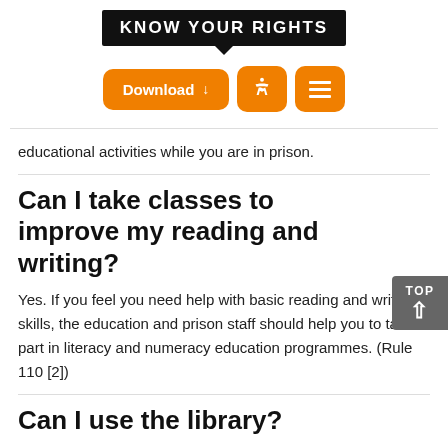[Figure (logo): Know Your Rights logo — white text on black speech bubble shape]
[Figure (screenshot): Navigation bar with orange Download button, accessibility icon button, and menu icon button]
educational activities while you are in prison.
Can I take classes to improve my reading and writing?
Yes. If you feel you need help with basic reading and writing skills, the education and prison staff should help you to take part in literacy and numeracy education programmes. (Rule 110 [2])
Can I use the library?